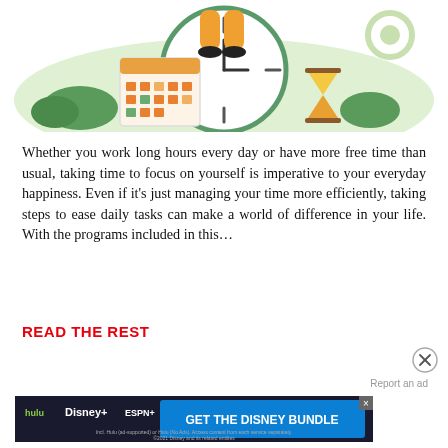[Figure (illustration): Illustration of a person sitting on a large clock face with an hourglass and a calendar, surrounded by green foliage on a light green background.]
Whether you work long hours every day or have more free time than usual, taking time to focus on yourself is imperative to your everyday happiness. Even if it's just managing your time more efficiently, taking steps to ease daily tasks can make a world of difference in your life. With the programs included in this…
READ THE REST
[Figure (other): Close button (X in circle) UI element]
Report an ad
[Figure (other): Disney Bundle advertisement banner showing Hulu, Disney+, and ESPN+ logos with 'GET THE DISNEY BUNDLE' call to action and fine print text.]